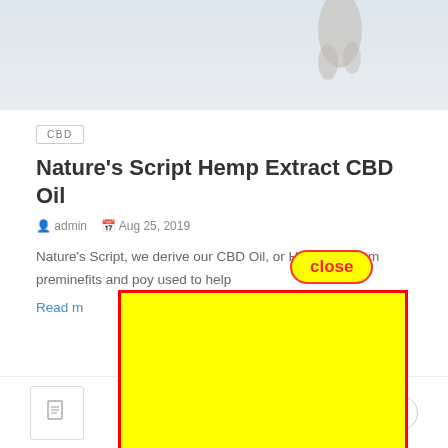[Figure (photo): Top banner area with partial product/hand image on light blue-grey background]
CBD
Nature's Script Hemp Extract CBD Oil
admin   Aug 25, 2019
Nature's Script, we derive our CBD Oil, or Hemp Oil, from premi... nefits and po... y used to help...
Read m...
[Figure (other): Large bright yellow rectangle with thick red border overlaying the lower portion of the page — a UI annotation/highlight overlay. A red-outlined yellow pill-shaped 'close' button appears above it.]
[Figure (other): Bottom bar with document icon box and scroll-up chevron button]